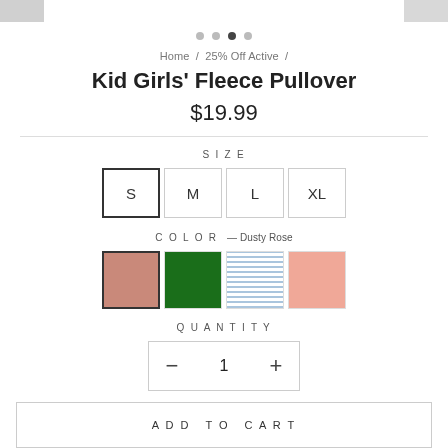[Figure (screenshot): Top image bar with product photo strip and gray side panels]
[Figure (other): Carousel dots: 4 dots, third one active]
Home / 25% Off Active /
Kid Girls' Fleece Pullover
$19.99
SIZE
S  M  L  XL (size selector, S selected)
COLOR — Dusty Rose
[Figure (other): Color swatches: Dusty Rose (selected), Green, Light Blue Stripe, Peach]
QUANTITY
- 1 +
ADD TO CART